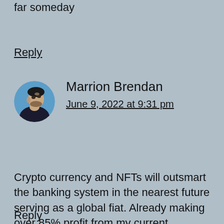far someday
Reply
[Figure (photo): Circular avatar photo of Marrion Brendan, a man in a dark jacket looking upward against a blue background]
Marrion Brendan
June 9, 2022 at 9:31 pm
Crypto currency and NFTs will outsmart the banking system in the nearest future serving as a global fiat. Already making over 85% profit from my current investment
Reply